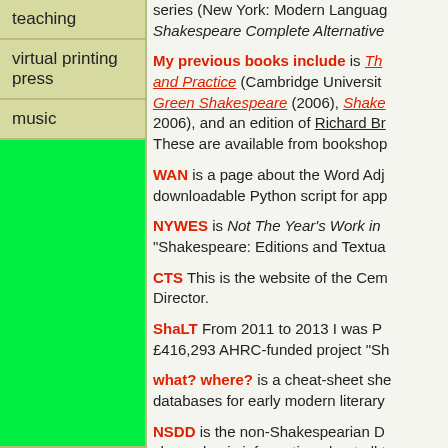teaching
virtual printing press
music
series (New York: Modern Language... Shakespeare Complete Alternative...
My previous books include is Th... and Practice (Cambridge Universit... Green Shakespeare (2006), Shake... 2006), and an edition of Richard Br... These are available from bookshop...
WAN is a page about the Word Adj... downloadable Python script for app...
NYWES is Not The Year's Work in... "Shakespeare: Editions and Textua...
CTS This is the website of the Cem... Director.
ShaLT From 2011 to 2013 I was P... £416,293 AHRC-funded project "Sh...
what? where? is a cheat-sheet she... databases for early modern literary...
NSDD is the non-Shakespearian D... charge basic information about all t...